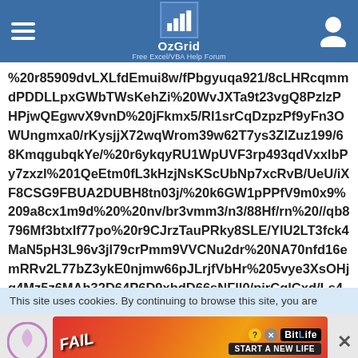OzGrid — Free Excel/VBA Help Forum
%20r85909dvLXLfdEmui8w/fPbgyuqa921/8cLHRcqmmdPDDLLpxGWbTWsKehZi%20WvJXTa9t23vgQ8PzIzPHPjwQEgwvX9vnD%20jFkmx5/RI1srCqDzpzPf9yFn3OWUngmxa0/rKysjjX72wqWrom39w62T7ys3ZlZuz199/68KmqgubqkYe/%20r6ykqyRU1WpUVF3rp493qdVxxlbPy7zxzI%201QeEtm0fL3kHzjNsKScUbNp7xcRvB/UeU/iXF8CSG9FBUA2DUBH8tn03j/%20k6GW1pPPfV9m0x9%209a8cx1m9d%20%20nv/br3vmm3/n3/88Hf/rn%20//qb8796Mf3btxIf77po%20r9CJrzTauPRky8SLE/YlU2LT3fck4MaN5pH3L96v3jl79crPmm9VVCNu2dr%20NA70nfd16emRRv2L77bZ3ykE0njmw66pJLrjfVbHr%205vye3XsOHjg4Mz5z6MAh32D64P6D9xbdD66sNFll0/pirCglCxd/Ls44N059d23Zf2b5RFRgNh3bytyMiKddPyOPf3VlzvbIkmw6djYt94IPTo4mWMJskU0ndUxLiiXlDF%20aN5uOtxz99/h6v%20V910/UJbS1tbW1tblebG5uPnTokHxDQ0OD72cPHTrU3Nysv65Dhw41bCTXkgi1qL71KolsGoCOVOb0eOdXf%203tX/k1mU2/9cu/2vjLv6o%20CzFk%2
This site uses cookies. By continuing to browse this site, you are
[Figure (screenshot): Advertisement banner for BitLife mobile game showing 'FAIL' text with cartoon character facepalming and fire, with 'START A NEW LIFE' text and BitLife logo]